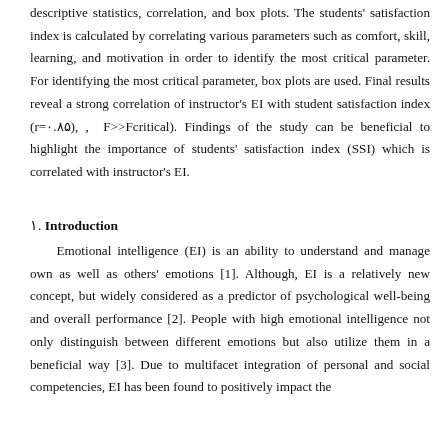descriptive statistics, correlation, and box plots. The students' satisfaction index is calculated by correlating various parameters such as comfort, skill, learning, and motivation in order to identify the most critical parameter. For identifying the most critical parameter, box plots are used. Final results reveal a strong correlation of instructor's EI with student satisfaction index (r=٠.٨۵), , F>>Fcritical). Findings of the study can be beneficial to highlight the importance of students' satisfaction index (SSI) which is correlated with instructor's EI.
١. Introduction
Emotional intelligence (EI) is an ability to understand and manage own as well as others' emotions [1]. Although, EI is a relatively new concept, but widely considered as a predictor of psychological well-being and overall performance [2]. People with high emotional intelligence not only distinguish between different emotions but also utilize them in a beneficial way [3]. Due to multifacet integration of personal and social competencies, EI has been found to positively impact the